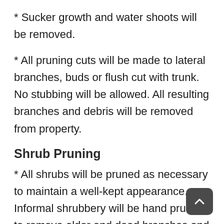* Sucker growth and water shoots will be removed.
* All pruning cuts will be made to lateral branches, buds or flush cut with trunk. No stubbing will be allowed. All resulting branches and debris will be removed from property.
Shrub Pruning
* All shrubs will be pruned as necessary to maintain a well-kept appearance. Informal shrubbery will be hand pruned to remove older and dead branches and to maintain their natural appearance.